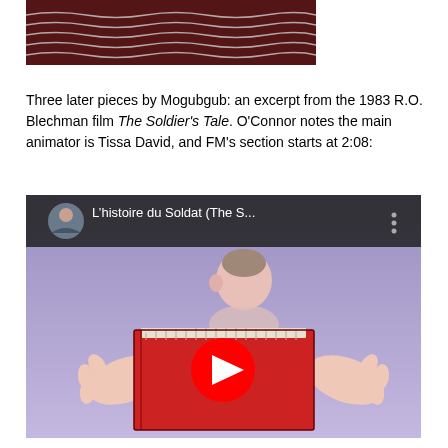[Figure (photo): Partial image at top of page showing dark/black and white striped or wavy pattern, cropped at top]
Three later pieces by Mogubgub: an excerpt from the 1983 R.O. Blechman film The Soldier's Tale. O'Connor notes the main animator is Tissa David, and FM's section starts at 2:08:
[Figure (screenshot): YouTube video embed showing 'L'histoire du Soldat (The S...' with a cartoon animation of a character holding a large red book against a purple background. Red play button in center.]